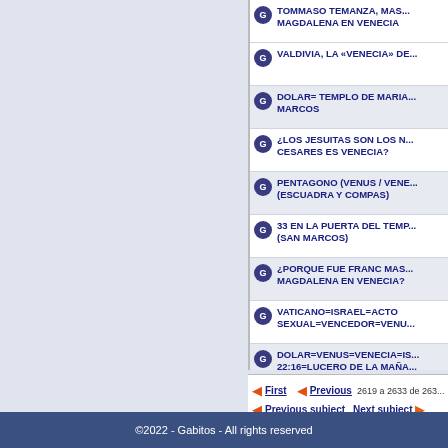TOMMASO TEMANZA, MAGDALENA EN VENECIA
VALDIVIA, LA «VENECIA» DE...
DOLAR= TEMPLO DE MARIA MARCOS
¿LOS JESUITAS SON LOS N... CESARES ES VENECIA?
PENTAGONO (VENUS / VENE... (ESCUADRA Y COMPAS)
33 EN LA PUERTA DEL TEMP... (SAN MARCOS)
¿PORQUE FUE FRANC MAS... MAGDALENA EN VENECIA?
VATICANO=ISRAEL=ACTO SEXUAL=VENCEDOR=VENU...
DOLAR=VENUS=VENECIA=IS... 22:16=LUCERO DE LA MAÑA...
First   Previous   2619 a 2633 de 263...
Previous subject   Next subject
©2022 - Gabitos - All rights reserved